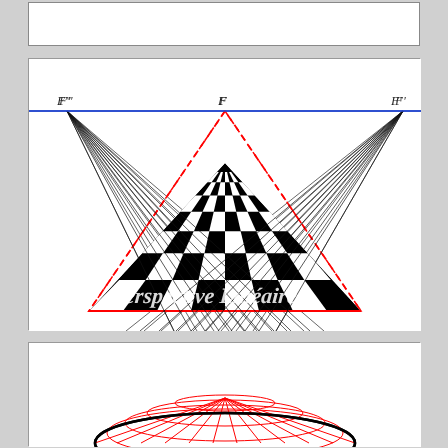[Figure (illustration): Top partial figure showing bottom edge of a framed box, white interior]
[Figure (illustration): Linear perspective diagram with checkerboard floor pattern receding to three vanishing points F'', F, F' on a blue horizon line. Red dashed triangle outlines the perspective cone. Black perspective lines radiate from vanishing points. Text 'Perspective Lineaire' overlaid on checkerboard.]
[Figure (illustration): Bottom partial figure showing beginning of a curved red grid/sphere shape on black arc, perspective diagram]